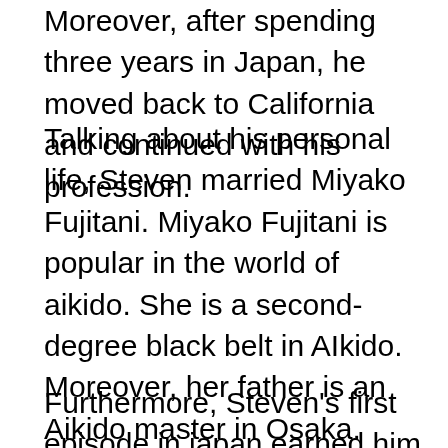Moreover, after spending three years in Japan, he moved back to California and continued with his profession.
Talking about his personal life, Steven married Miyako Fujitani. Miyako Fujitani is popular in the world of aikido. She is a second-degree black belt in AIkido.  Moreover, her father is an Aikido master in Osaka. They met when Miyako and her father went to Las Angeles to teach martial arts. This was when Steven went to Osaka with her. Moreover, Steven and Miyako got married after a few days of dating. Fortunately, they became the parents of twins the same year. Also, the Miyako family owned a school in Osaka where Steven started teaching AIkido there. He was the first non-Asian to teach martial arts to the Japanese.
Furthermore, Steven's first episode in japan earned him Craig Dunn. Craig Dunn was the best student of Steven who became a successful stuntman in Hollywood later. Steven,